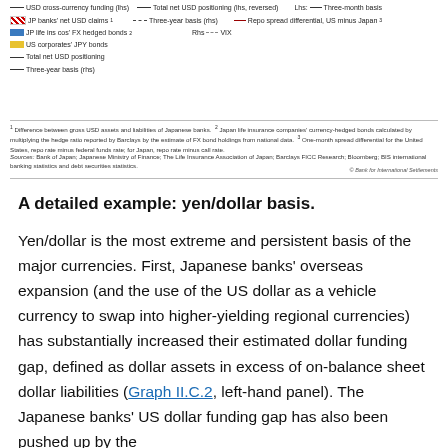1 Difference between gross USD assets and liabilities of Japanese banks.  2 Japan life insurance companies' currency-hedged bonds calculated by multiplying the hedge ratio reported by Barclays by the estimate of FX bond holdings from national data.  3 One-month spread differential for the United States, repo rate minus federal funds rate; for Japan, repo rate minus call rate.
Sources: Bank of Japan; Japanese Ministry of Finance; The Life Insurance Association of Japan; Barclays FICC Research; Bloomberg; BIS international banking statistics and debt securities statistics.
© Bank for International Settlements
A detailed example: yen/dollar basis.
Yen/dollar is the most extreme and persistent basis of the major currencies. First, Japanese banks' overseas expansion (and the use of the US dollar as a vehicle currency to swap into higher-yielding regional currencies) has substantially increased their estimated dollar funding gap, defined as dollar assets in excess of on-balance sheet dollar liabilities (Graph II.C.2, left-hand panel). The Japanese banks' US dollar funding gap has also been pushed up by the